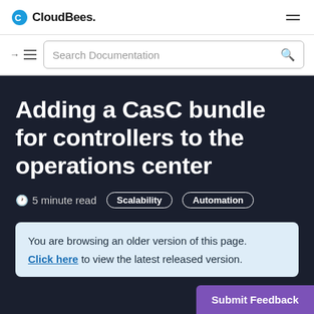CloudBees
[Figure (screenshot): Search documentation bar with menu icon and magnifying glass]
Adding a CasC bundle for controllers to the operations center
5 minute read  Scalability  Automation
You are browsing an older version of this page. Click here to view the latest released version.
Submit Feedback